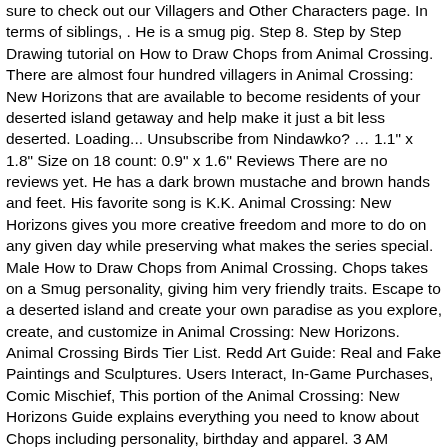sure to check out our Villagers and Other Characters page. In terms of siblings, . He is a smug pig. Step 8. Step by Step Drawing tutorial on How to Draw Chops from Animal Crossing. There are almost four hundred villagers in Animal Crossing: New Horizons that are available to become residents of your deserted island getaway and help make it just a bit less deserted. Loading... Unsubscribe from Nindawko? … 1.1" x 1.8" Size on 18 count: 0.9" x 1.6" Reviews There are no reviews yet. He has a dark brown mustache and brown hands and feet. His favorite song is K.K. Animal Crossing: New Horizons gives you more creative freedom and more to do on any given day while preserving what makes the series special. Male How to Draw Chops from Animal Crossing. Chops takes on a Smug personality, giving him very friendly traits. Escape to a deserted island and create your own paradise as you explore, create, and customize in Animal Crossing: New Horizons. Animal Crossing Birds Tier List. Redd Art Guide: Real and Fake Paintings and Sculptures. Users Interact, In-Game Purchases, Comic Mischief, This portion of the Animal Crossing: New Horizons Guide explains everything you need to know about Chops including personality, birthday and apparel. 3 AM (Animal Crossing) – Curly. In this current trying times, the world of Animal Crossing has never seemed like a better place to engross yourself into. Chops Smug villagers get along well with most